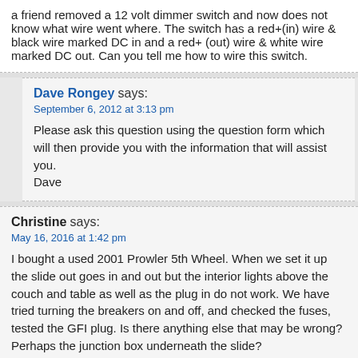a friend removed a 12 volt dimmer switch and now does not know what wire went where. The switch has a red+(in) wire & black wire marked DC in and a red+ (out) wire & white wire marked DC out. Can you tell me how to wire this switch.
Dave Rongey says:
September 6, 2012 at 3:13 pm
Please ask this question using the question form which will then provide you with the information that will assist you.
Dave
Christine says:
May 16, 2016 at 1:42 pm
I bought a used 2001 Prowler 5th Wheel. When we set it up the slide out goes in and out but the interior lights above the couch and table as well as the plug in do not work. We have tried turning the breakers on and off, and checked the fuses, tested the GFI plug. Is there anything else that may be wrong? Perhaps the junction box underneath the slide?
Dave Rongey says: